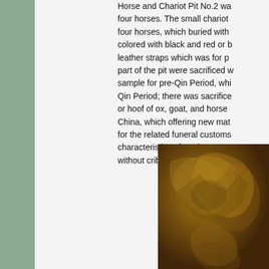Horse and Chariot Pit No.2 was four horses. The small chariot four horses, which buried with colored with black and red or b leather straps which was for p part of the pit were sacrificed w sample for pre-Qin Period, whi Qin Period; there was sacrifice or hoof of ox, goat, and horse China, which offering new mat for the related funeral customs characteristics of north group. without crib ring and with potte
[Figure (photo): Photograph of ancient Chinese bronze or terracotta artifact showing horses and chariot-related objects, partially visible at bottom right of page]